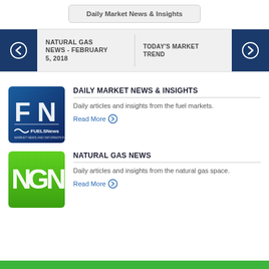Daily Market News & Insights
NATURAL GAS NEWS - FEBRUARY 5, 2018
TODAY'S MARKET TREND
[Figure (logo): FN FuelsNews Market News and Information logo - blue square with FN letters]
DAILY MARKET NEWS & INSIGHTS
Daily articles and insights from the fuel markets.
Read More ⊙
[Figure (logo): NGN Natural Gas News logo - green square with NGN letters]
NATURAL GAS NEWS
Daily articles and insights from the natural gas space.
Read More ⊙